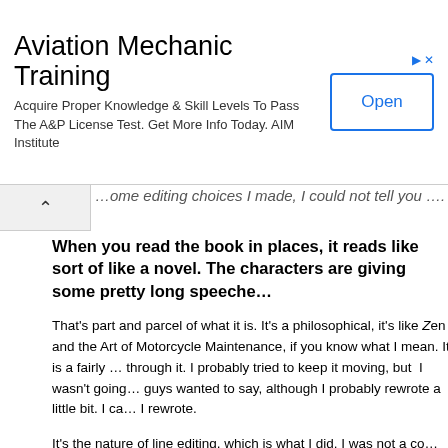[Figure (other): Advertisement banner for Aviation Mechanic Training by AIM Institute with an Open button]
…ome editing choices I made, I could not tell you ….
When you read the book in places, it reads like sort of like a novel. The characters are giving some pretty long speeches.
That's part and parcel of what it is. It's a philosophical, it's like Zen and the Art of Motorcycle Maintenance, if you know what I mean. It is a fairly long read to get through it. I probably tried to keep it moving, but I wasn't going to cut what the guys wanted to say, although I probably rewrote a little bit. I can't tell you what I rewrote.
It's the nature of line editing, which is what I did. I was not a copy editor. I had a staff of folks who knew like i before e except after c, and where the comma goes, and that stuff, when it's a semicolon, when it's not. I don't know any of that stuff.
I was the guy who would, you know, go out, buy a paperback of something, punch up the scenes, punch up the violence. That's what a line editor does. A line editor is a good road. There are other folks who do the proofreading and…